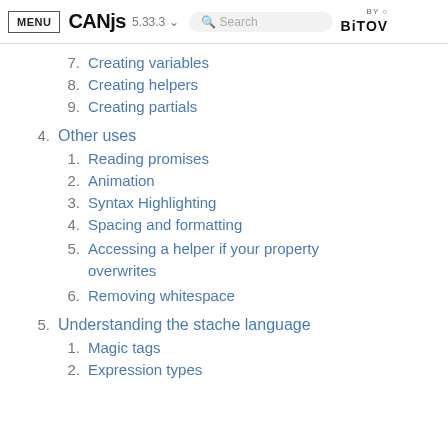MENU  canjs  5.33.3  Search  BY BITOV
7.  Creating variables
8.  Creating helpers
9.  Creating partials
4.  Other uses
1.  Reading promises
2.  Animation
3.  Syntax Highlighting
4.  Spacing and formatting
5.  Accessing a helper if your property overwrites
6.  Removing whitespace
5.  Understanding the stache language
1.  Magic tags
2.  Expression types